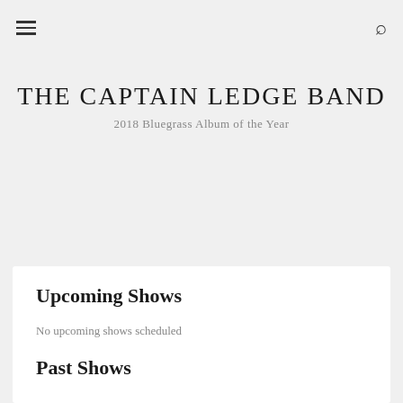≡  🔍
THE CAPTAIN LEDGE BAND
2018 Bluegrass Album of the Year
Upcoming Shows
No upcoming shows scheduled
Past Shows